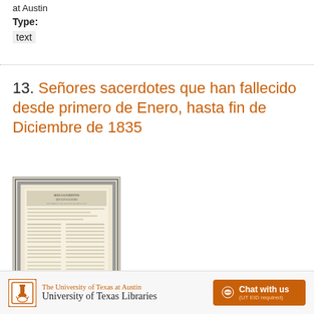at Austin
Type:
text
13. Señores sacerdotes que han fallecido desde primero de Enero, hasta fin de Diciembre de 1835
[Figure (photo): Thumbnail of an old historical document with decorative border and tabular text content, showing 'SRES SACERDOTES' heading]
The University of Texas at Austin University of Texas Libraries   Chat with us (UT EID required)